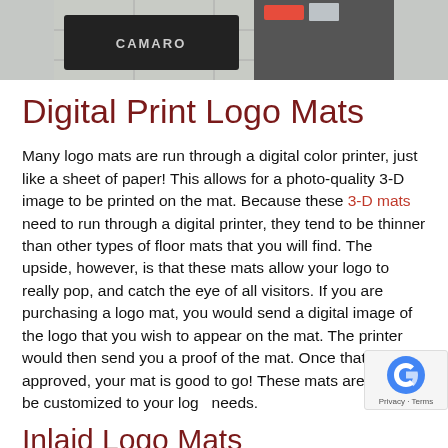[Figure (photo): Photo of a custom logo floor mat (Camaro branded) on a tiled floor, partially cropped at the top of the page]
Digital Print Logo Mats
Many logo mats are run through a digital color printer, just like a sheet of paper! This allows for a photo-quality 3-D image to be printed on the mat. Because these 3-D mats need to run through a digital printer, they tend to be thinner than other types of floor mats that you will find. The upside, however, is that these mats allow your logo to really pop, and catch the eye of all visitors. If you are purchasing a logo mat, you would send a digital image of the logo that you wish to appear on the mat. The printer would then send you a proof of the mat. Once that proof is approved, your mat is good to go! These mats are able to be customized to your logo needs.
Inlaid Logo Mats